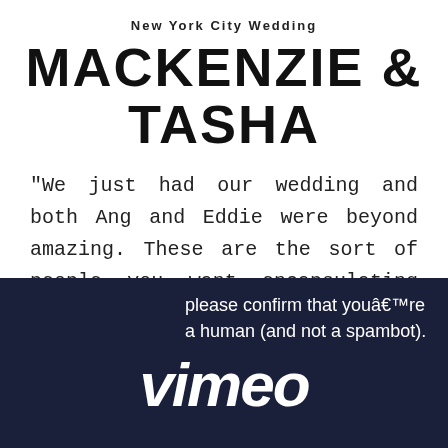New York City Wedding
MACKENZIE & TASHA
"We just had our wedding and both Ang and Eddie were beyond amazing. These are the sort of people you want encapsulating you're every experience throughout the day."
[Figure (screenshot): Dark navy blue box showing a CAPTCHA-like message 'please confirm that youâ€™re a human (and not a spambot).' followed by the Vimeo logo in white italic text on a dark navy background.]